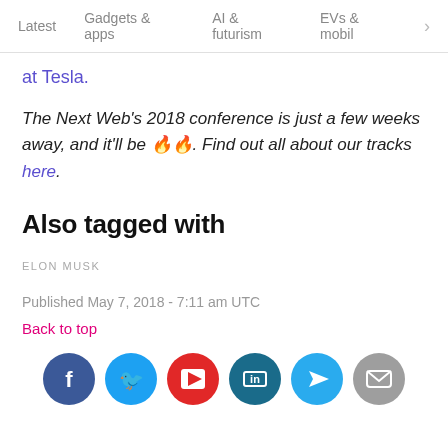Latest   Gadgets & apps   AI & futurism   EVs & mobil  >
at Tesla .
The Next Web's 2018 conference is just a few weeks away, and it'll be 🔥🔥. Find out all about our tracks here.
Also tagged with
ELON MUSK
Published May 7, 2018 - 7:11 am UTC
Back to top
[Figure (infographic): Row of social sharing icons: Facebook (blue), Twitter (blue), Flipboard (red), LinkedIn (dark teal), Telegram (light blue), Email (grey)]